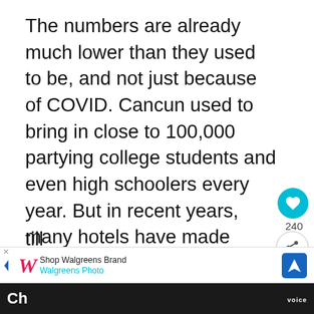The numbers are already much lower than they used to be, and not just because of COVID. Cancun used to bring in close to 100,000 partying college students and even high schoolers every year. But in recent years, many hotels have made clear statements that they are not interested in that market because of its potentially disruptive nature.
College and High School spring breaks typically run from the end of Februa...